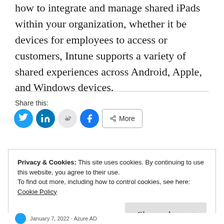how to integrate and manage shared iPads within your organization, whether it be devices for employees to access or customers, Intune supports a variety of shared experiences across Android, Apple, and Windows devices.
Share this:
[Figure (other): Social share buttons: Twitter, LinkedIn, Reddit, Facebook, and a More button]
Privacy & Cookies: This site uses cookies. By continuing to use this website, you agree to their use.
To find out more, including how to control cookies, see here:
Cookie Policy

Close and accept
January 7, 2022 · Azure AD